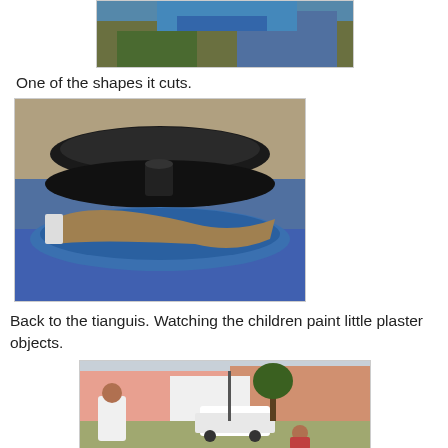[Figure (photo): Partial photo of tools/items at top of page, mostly cut off]
One of the shapes it cuts.
[Figure (photo): Photo showing metal cutting shapes/dies stacked on a blue machine, industrial workshop setting]
Back to the tianguis. Watching the children paint little plaster objects.
[Figure (photo): Photo of children painting plaster objects at an outdoor market (tianguis) with pink colonial buildings in background]